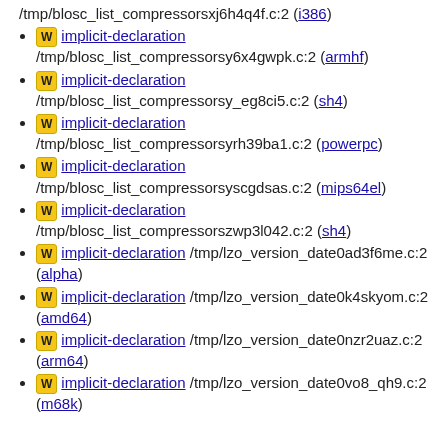/tmp/blosc_list_compressorsxj6h4q4f.c:2 (i386)
W implicit-declaration /tmp/blosc_list_compressorsy6x4gwpk.c:2 (armhf)
W implicit-declaration /tmp/blosc_list_compressorsy_eg8ci5.c:2 (sh4)
W implicit-declaration /tmp/blosc_list_compressorsyrh39ba1.c:2 (powerpc)
W implicit-declaration /tmp/blosc_list_compressorsyscgdsas.c:2 (mips64el)
W implicit-declaration /tmp/blosc_list_compressorszwp3l042.c:2 (sh4)
W implicit-declaration /tmp/lzo_version_date0ad3f6me.c:2 (alpha)
W implicit-declaration /tmp/lzo_version_date0k4skyom.c:2 (amd64)
W implicit-declaration /tmp/lzo_version_date0nzr2uaz.c:2 (arm64)
W implicit-declaration /tmp/lzo_version_date0vo8_qh9.c:2 (m68k)